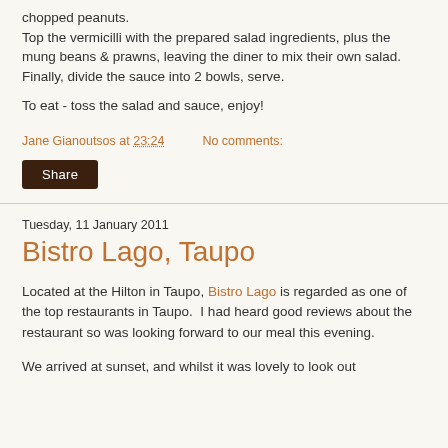chopped peanuts.
Top the vermicilli with the prepared salad ingredients, plus the mung beans & prawns, leaving the diner to mix their own salad.
Finally, divide the sauce into 2 bowls, serve.
To eat - toss the salad and sauce, enjoy!
Jane Gianoutsos at 23:24   No comments:
Share
Tuesday, 11 January 2011
Bistro Lago, Taupo
Located at the Hilton in Taupo, Bistro Lago is regarded as one of the top restaurants in Taupo.  I had heard good reviews about the restaurant so was looking forward to our meal this evening.
We arrived at sunset, and whilst it was lovely to look out